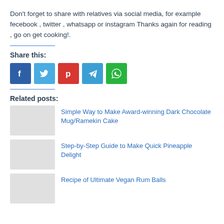Don't forget to share with relatives via social media, for example fecebook , twitter , whatsapp or instagram Thanks again for reading , go on get cooking!.
Share this:
[Figure (other): Social media share buttons: Facebook (blue), Twitter (light blue), Pinterest (red), Telegram (blue), WhatsApp (green)]
Related posts:
Simple Way to Make Award-winning Dark Chocolate Mug/Ramekin Cake
Step-by-Step Guide to Make Quick Pineapple Delight
Recipe of Ultimate Vegan Rum Balls